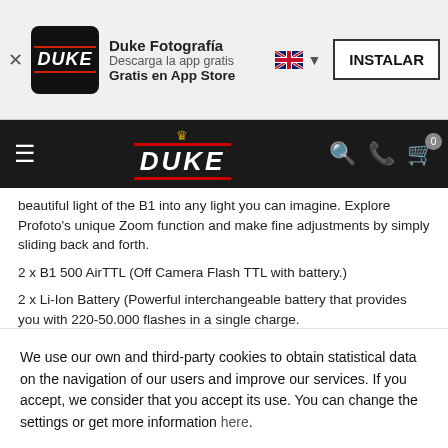[Figure (screenshot): App banner for Duke Fotografía showing app icon, name, subtitle 'Descarga la app gratis', 'Gratis en App Store', UK flag, and INSTALAR button]
[Figure (screenshot): Duke Fotografía website navigation bar with hamburger menu, DUKE logo with crown, search, phone, and cart icons]
beautiful light of the B1 into any light you can imagine. Explore Profoto's unique Zoom function and make fine adjustments by simply sliding back and forth.
2 x B1 500 AirTTL (Off Camera Flash TTL with battery.)
2 x Li-Ion Battery (Powerful interchangeable battery that provides you with 220-50.000 flashes in a single charge.
We use our own and third-party cookies to obtain statistical data on the navigation of our users and improve our services. If you accept, we consider that you accept its use. You can change the settings or get more information here.
Configure  Accept all